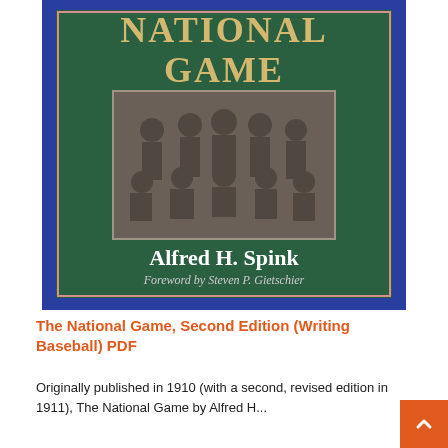[Figure (illustration): Book cover of 'The National Game, Second Edition' — dark green background with blue border, large tan/gold serif text reading 'NATIONAL GAME' at top, a vintage black-and-white team photo of baseball players in the center, author name 'Alfred H. Spink' in white at bottom, italic text 'Foreword by Steven P. Gietschier' below author name.]
The National Game, Second Edition (Writing Baseball) PDF
Originally published in 1910 (with a second, revised edition in 1911), The National Game by Alfred H...